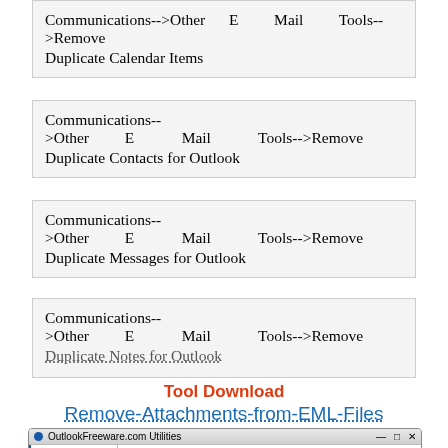Communications-->Other E Mail Tools-->Remove Duplicate Calendar Items
Communications-->Other E Mail Tools-->Remove Duplicate Contacts for Outlook
Communications-->Other E Mail Tools-->Remove Duplicate Messages for Outlook
Communications-->Other E Mail Tools-->Remove Duplicate Notes for Outlook
Tool Download
Remove-Attachments-from-EML-Files
[Figure (screenshot): OutlookFreeware.com Utilities application window showing 'Remove Attachments from EML' selected in the dropdown. Sidebar shows Utilities and About. Description reads: Deletes attachments from EML files in the specified folder. It allows you to.]